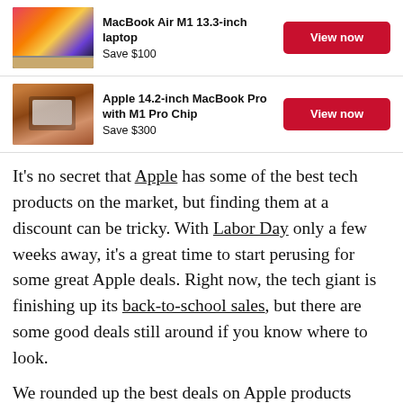[Figure (photo): MacBook Air M1 laptop product image with colorful wallpaper]
MacBook Air M1 13.3-inch laptop — Save $100 — View now
[Figure (photo): Apple MacBook Pro 14.2-inch with M1 Pro Chip being held by a person]
Apple 14.2-inch MacBook Pro with M1 Pro Chip — Save $300 — View now
It's no secret that Apple has some of the best tech products on the market, but finding them at a discount can be tricky. With Labor Day only a few weeks away, it's a great time to start perusing for some great Apple deals. Right now, the tech giant is finishing up its back-to-school sales, but there are some good deals still around if you know where to look.
We rounded up the best deals on Apple products